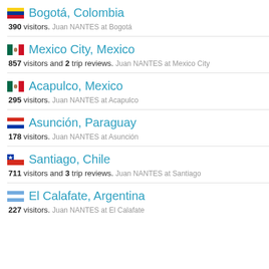Bogotá, Colombia — 390 visitors. Juan NANTES at Bogotá
Mexico City, Mexico — 857 visitors and 2 trip reviews. Juan NANTES at Mexico City
Acapulco, Mexico — 295 visitors. Juan NANTES at Acapulco
Asunción, Paraguay — 178 visitors. Juan NANTES at Asunción
Santiago, Chile — 711 visitors and 3 trip reviews. Juan NANTES at Santiago
El Calafate, Argentina — 227 visitors. Juan NANTES at El Calafate